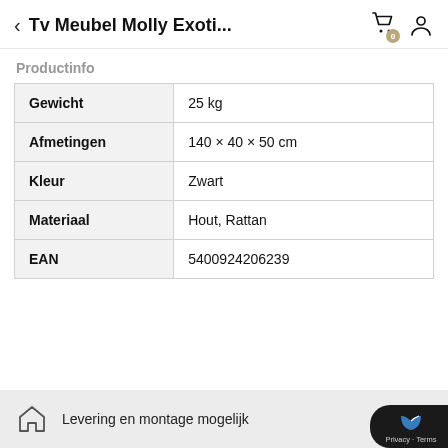Tv Meubel Molly Exoti...
Productinfo
|  |  |
| --- | --- |
| Gewicht | 25 kg |
| Afmetingen | 140 × 40 × 50 cm |
| Kleur | Zwart |
| Materiaal | Hout, Rattan |
| EAN | 5400924206239 |
Levering en montage mogelijk